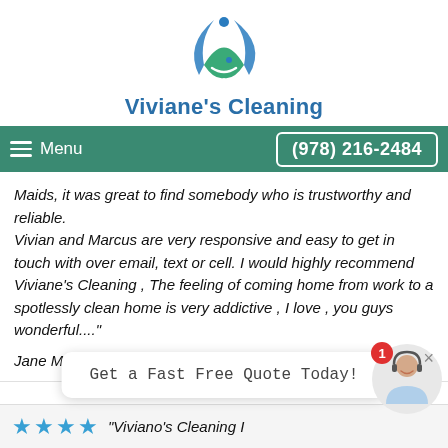[Figure (logo): Viviane's Cleaning logo: circular swoosh design in blue and teal with a smile element]
Viviane's Cleaning
[Figure (screenshot): Navigation bar with green background showing hamburger Menu button on left and phone number (978) 216-2484 on right]
Maids, it was great to find somebody who is trustworthy and reliable. Vivian and Marcus are very responsive and easy to get in touch with over email, text or cell. I would highly recommend Viviane's Cleaning , The feeling of coming home from work to a spotlessly clean home is very addictive , I love , you guys wonderful...."
Jane M in Ipswich, MA
Get a Fast Free Quote Today!
"Viviano's Cleaning I